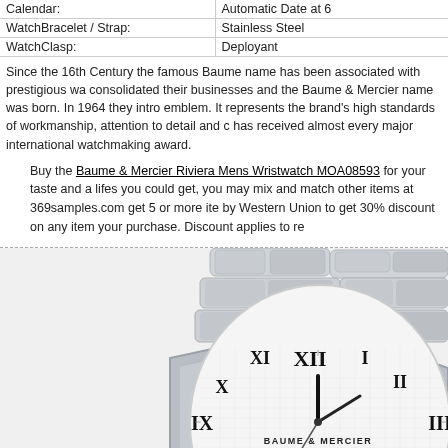| Calendar: | Automatic Date at 6 |
| WatchBracelet / Strap: | Stainless Steel |
| WatchClasp: | Deployant |
Since the 16th Century the famous Baume name has been associated with prestigious wa... consolidated their businesses and the Baume & Mercier name was born. In 1964 they intro... emblem. It represents the brand's high standards of workmanship, attention to detail and c... has received almost every major international watchmaking award.
Buy the Baume & Mercier Riviera Mens Wristwatch MOA08593 for your taste and a lifes... you could get, you may mix and match other items at 369samples.com get 5 or more ite... by Western Union to get 30% discount on any item your purchase. Discount applies to re...
[Figure (photo): Close-up photo of a Baume & Mercier Riviera stainless steel wristwatch with white dial showing Roman numerals and BAUME & MERCIER GENEVE text, with integrated stainless steel bracelet.]